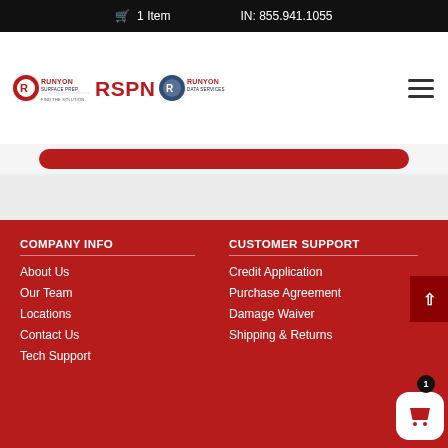🛒 1 Item   IN: 855.941.1055
[Figure (logo): Runyon Surface Prep, RSPN, and Runyon Data Services logos grouped in navigation bar with hamburger menu icon]
[Figure (other): Red rounded rectangle button element]
COMPANY INFO
CUSTOMER SUPPORT
About Us
Credit Application
Our Team
Purchase Agreement
Locations
Damage Waiver
Contact Us
Shipping & Returns
Tech Support